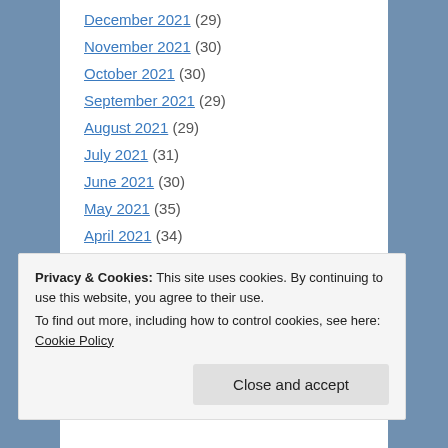December 2021 (29)
November 2021 (30)
October 2021 (30)
September 2021 (29)
August 2021 (29)
July 2021 (31)
June 2021 (30)
May 2021 (35)
April 2021 (34)
March 2021 (33)
February 2021 (33)
Privacy & Cookies: This site uses cookies. By continuing to use this website, you agree to their use. To find out more, including how to control cookies, see here: Cookie Policy